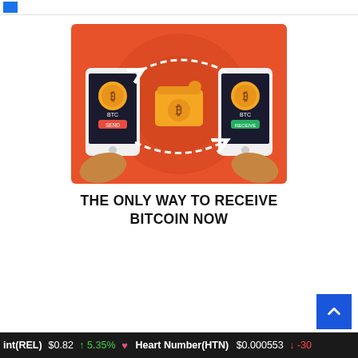[Figure (illustration): Illustration on orange/red background showing two hands holding smartphones with Bitcoin (BTC) coins displayed on screens, with a golden Bitcoin wallet in the center and dashed arrows forming a circular transfer pattern between the phones.]
THE ONLY WAY TO RECEIVE BITCOIN NOW
int(REL) $0.82 ↑ 5.35% ♥ Heart Number(HTN) $0.000553 ↓ -30